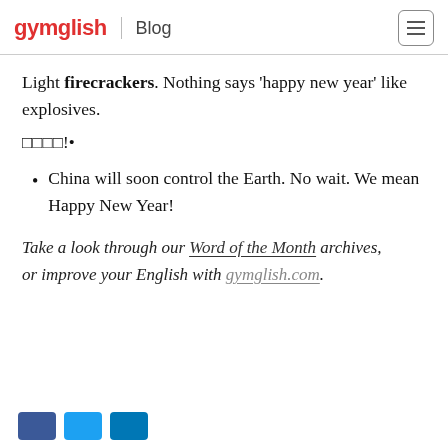gymglish Blog
Light firecrackers. Nothing says ‘happy new year’ like explosives.
□□□□!•
China will soon control the Earth. No wait. We mean Happy New Year!
Take a look through our Word of the Month archives, or improve your English with gymglish.com.